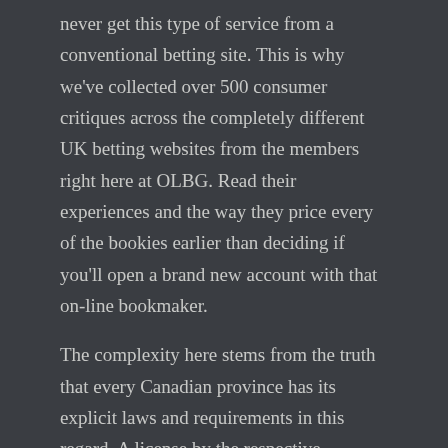never get this type of service from a conventional betting site. This is why we've collected over 500 consumer critiques across the completely different UK betting websites from the members right here at OLBG. Read their experiences and the way they price every of the bookies earlier than deciding if you'll open a brand new account with that on-line bookmaker.
The complexity here stems from the truth that every Canadian province has its explicit laws and requirements in this regard. A license by the respective province must be issued in order for a sportsbook to function legally on its territory. While betting sites invariably have a good cellular website now, an app can take issues to the following stage.
Horse racing is in style within the Netherlands and there are